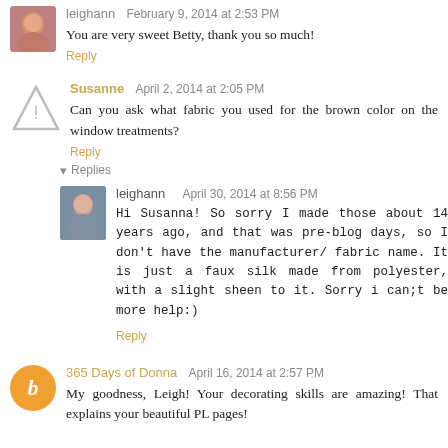leighann — February 9, 2014 at 2:53 PM
You are very sweet Betty, thank you so much!
Reply
Susanne — April 2, 2014 at 2:05 PM
Can you ask what fabric you used for the brown color on the window treatments?
Reply
Replies
leighann — April 30, 2014 at 8:56 PM
Hi Susanna! So sorry I made those about 14 years ago, and that was pre-blog days, so I don't have the manufacturer/ fabric name. It is just a faux silk made from polyester, with a slight sheen to it. Sorry i can;t be more help:)
Reply
365 Days of Donna — April 16, 2014 at 2:57 PM
My goodness, Leigh! Your decorating skills are amazing! That explains your beautiful PL pages!